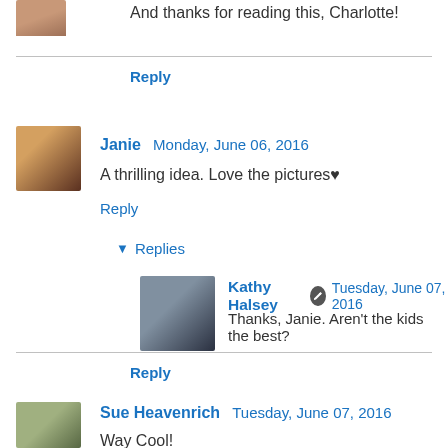And thanks for reading this, Charlotte!
Reply
Janie  Monday, June 06, 2016
A thrilling idea. Love the pictures♥
Reply
▼ Replies
[Figure (photo): Avatar photo of Kathy Halsey]
Kathy Halsey  Tuesday, June 07, 2016
Thanks, Janie. Aren't the kids the best?
Reply
[Figure (photo): Avatar photo of Sue Heavenrich]
Sue Heavenrich  Tuesday, June 07, 2016
Way Cool!